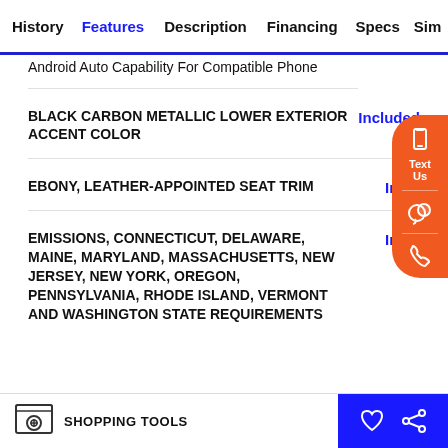History | Features | Description | Financing | Specs | Sim
Android Auto Capability For Compatible Phone
BLACK CARBON METALLIC LOWER EXTERIOR ACCENT COLOR — Included
EBONY, LEATHER-APPOINTED SEAT TRIM — Included
EMISSIONS, CONNECTICUT, DELAWARE, MAINE, MARYLAND, MASSACHUSETTS, NEW JERSEY, NEW YORK, OREGON, PENNSYLVANIA, RHODE ISLAND, VERMONT AND WASHINGTON STATE REQUIREMENTS — Included
SHOPPING TOOLS